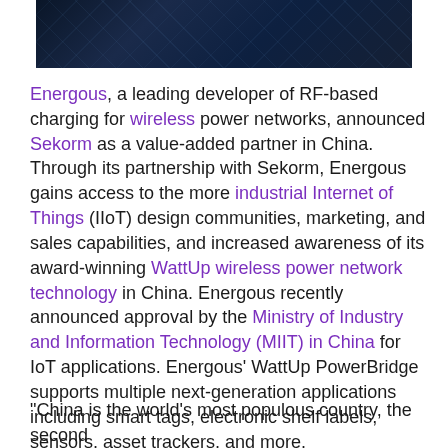[Figure (photo): Dark blue technology/circuit board background image at the top of the page]
Energous, a leading developer of RF-based charging for wireless power networks, announced Sekorm as a value-added partner in China. Through its partnership with Sekorm, Energous gains access to the more industrial Internet of Things (IIoT) design communities, marketing, and sales capabilities, and increased awareness of its award-winning WattUp wireless power network technology in China. Energous recently announced approval by the Ministry of Industry and Information Technology (MIIT) in China for IoT applications. Energous' WattUp PowerBridge supports multiple next-generation applications including smart tags, electronic shelf labels, sensors, asset trackers, and more.
“China is the world’s most populous country, the second